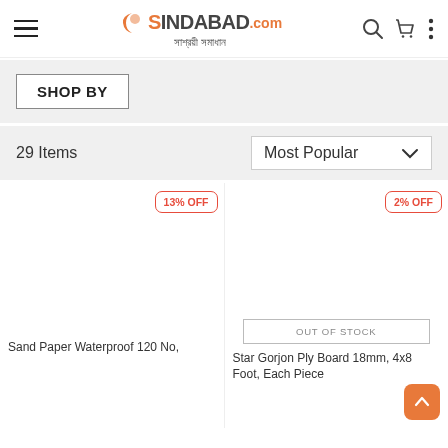Sindabad.com — সাশ্রয়ী সমাধান
SHOP BY
29 Items | Most Popular
[Figure (screenshot): Product listing page showing two items with discount badges: 13% OFF and 2% OFF. Left product: Sand Paper Waterproof 120 No. Right product: Star Gorjon Ply Board 18mm, 4x8 Foot, Each Piece — marked Out of Stock.]
Sand Paper Waterproof 120 No,
Star Gorjon Ply Board 18mm, 4x8 Foot, Each Piece